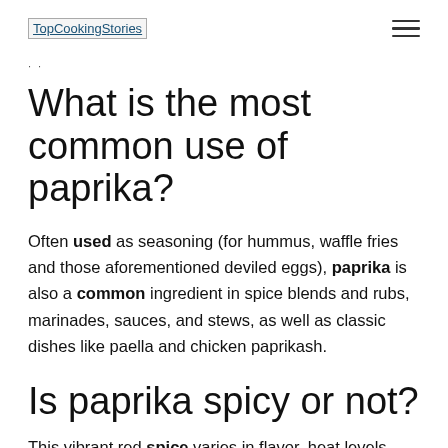TopCookingStories
What is the most common use of paprika?
Often used as seasoning (for hummus, waffle fries and those aforementioned deviled eggs), paprika is also a common ingredient in spice blends and rubs, marinades, sauces, and stews, as well as classic dishes like paella and chicken paprikash.
Is paprika spicy or not?
This vibrant red spice varies in flavor, heat levels, and color depending on the type of peppers used to make the paprika... Some paprikas are hot and spicy, with